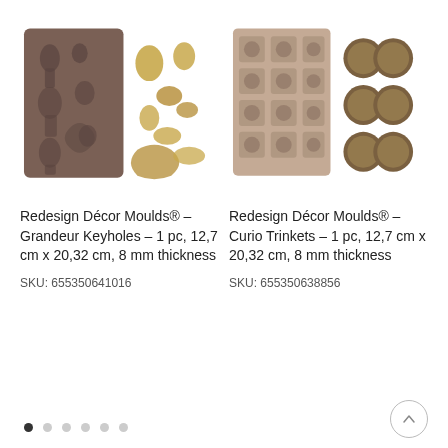[Figure (photo): Brown silicone mould showing keyhole and ornate decorative motifs, with golden cast pieces arranged beside it]
[Figure (photo): Light tan silicone mould with square grid of decorative rosette and geometric patterns, with six round bronze-toned cast medallions beside it]
Redesign Décor Moulds® – Grandeur Keyholes – 1 pc, 12,7 cm x 20,32 cm, 8 mm thickness
SKU: 655350641016
Redesign Décor Moulds® – Curio Trinkets – 1 pc, 12,7 cm x 20,32 cm, 8 mm thickness
SKU: 655350638856